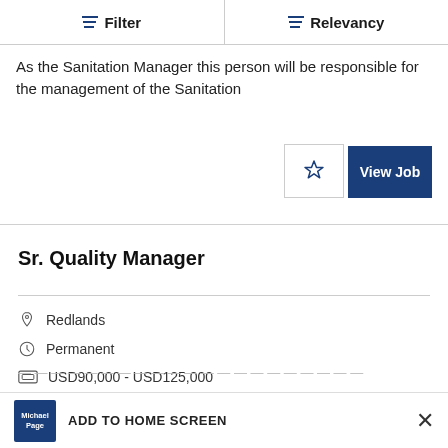Filter | Relevancy
As the Sanitation Manager this person will be responsible for the management of the Sanitation
View Job
Sr. Quality Manager
Redlands
Permanent
USD90,000 - USD125,000
ADD TO HOME SCREEN